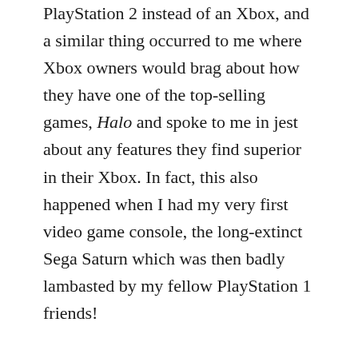PlayStation 2 instead of an Xbox, and a similar thing occurred to me where Xbox owners would brag about how they have one of the top-selling games, Halo and spoke to me in jest about any features they find superior in their Xbox. In fact, this also happened when I had my very first video game console, the long-extinct Sega Saturn which was then badly lambasted by my fellow PlayStation 1 friends!
Honestly speaking, video game consoles have varying technical specifications that probably determine how successful they are in the industry. When it comes to comparisons, people normally pit similar consoles that belong to the